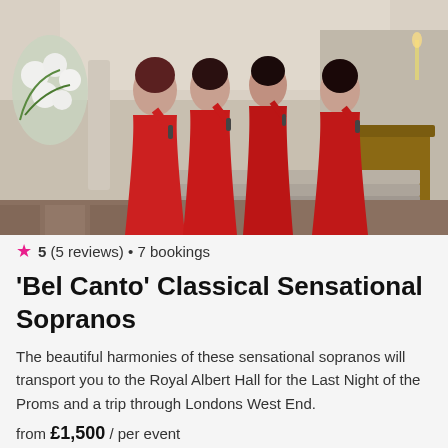[Figure (photo): Four women in red off-shoulder gowns performing with microphones inside an ornate church with white floral arrangements and marble columns.]
5 (5 reviews) • 7 bookings
'Bel Canto' Classical Sensational Sopranos
The beautiful harmonies of these sensational sopranos will transport you to the Royal Albert Hall for the Last Night of the Proms and a trip through Londons West End.
from £1,500 / per event